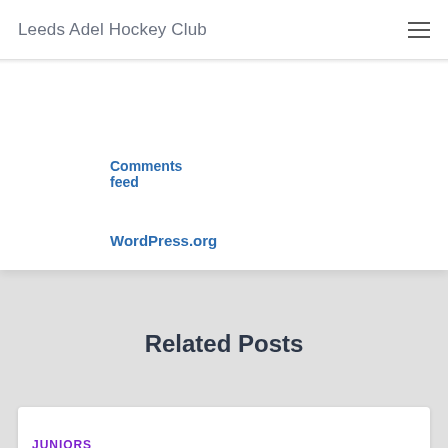Leeds Adel Hockey Club
Comments feed
WordPress.org
Related Posts
JUNIORS